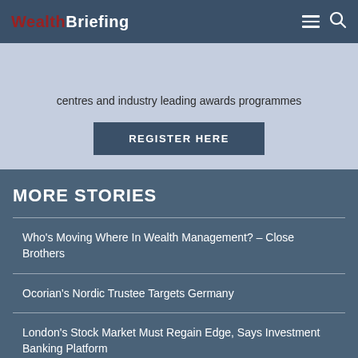WealthBriefing
centres and industry leading awards programmes
REGISTER HERE
MORE STORIES
Who's Moving Where In Wealth Management? – Close Brothers
Ocorian's Nordic Trustee Targets Germany
London's Stock Market Must Regain Edge, Says Investment Banking Platform